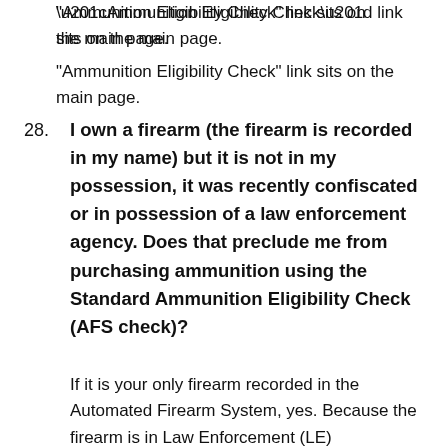“Ammunition Eligibility Check” link sits on the main page.
28. I own a firearm (the firearm is recorded in my name) but it is not in my possession, it was recently confiscated or in possession of a law enforcement agency. Does that preclude me from purchasing ammunition using the Standard Ammunition Eligibility Check (AFS check)?
If it is your only firearm recorded in the Automated Firearm System, yes. Because the firearm is in Law Enforcement (LE)